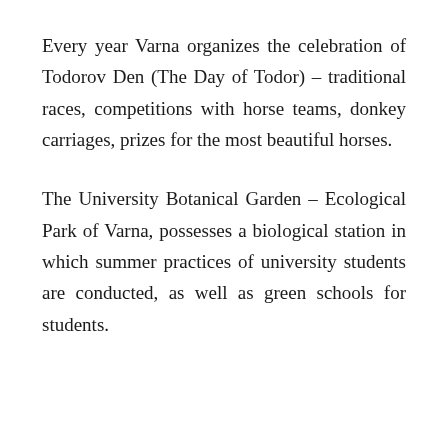Every year Varna organizes the celebration of Todorov Den (The Day of Todor) – traditional races, competitions with horse teams, donkey carriages, prizes for the most beautiful horses.
The University Botanical Garden – Ecological Park of Varna, possesses a biological station in which summer practices of university students are conducted, as well as green schools for students.